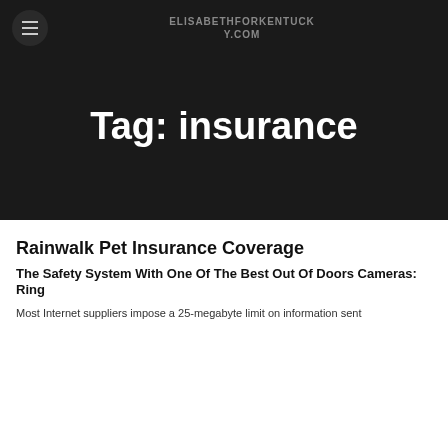ELISABETHFORKENTUCKY.COM
Tag: insurance
Rainwalk Pet Insurance Coverage
The Safety System With One Of The Best Out Of Doors Cameras: Ring
Most Internet suppliers impose a 25-megabyte limit on information sent